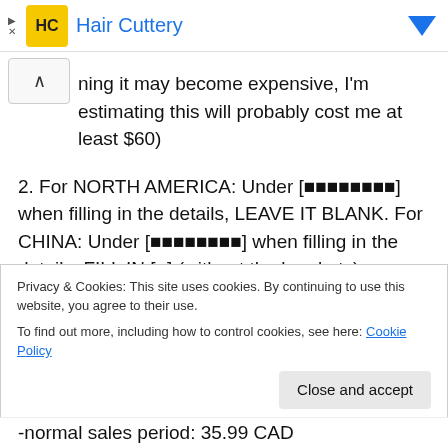[Figure (logo): Hair Cuttery advertisement banner with HC logo and brand name in blue]
ning it may become expensive, I'm estimating this will probably cost me at least $60)
2. For NORTH AMERICA: Under [■■■■■■■■] when filling in the details, LEAVE IT BLANK. For CHINA: Under [■■■■■■■■] when filling in the details, FILL IN [■] (without the brackets).
2. PRICE (not including shipping unless you are
Privacy & Cookies: This site uses cookies. By continuing to use this website, you agree to their use.
To find out more, including how to control cookies, see here: Cookie Policy
-normal sales period: 35.99 CAD